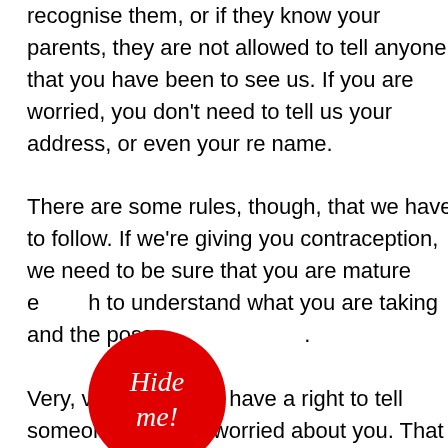recognise them, or if they know your parents, they are not allowed to tell anyone that you have been to see us. If you are worried, you don't need to tell us your address, or even your real name.

There are some rules, though, that we have to follow. If we're giving you contraception, we need to be sure that you are mature enough to understand what you are taking and the possible side effects.

Very, very rarely, we have a right to tell someone if we are worried about you. That applies only in a situation when we feel you might be being abused or exploited. Even if this does happen, we would never do it without discussing it with you first.
[Figure (other): Red circular button with white italic text reading 'Hide me!']